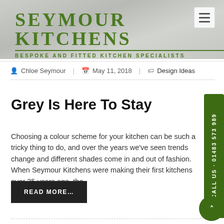[Figure (screenshot): Seymour Kitchens website header banner with kitchen background image]
SEYMOUR KITCHENS — BESPOKE AND FITTED KITCHEN SPECIALISTS
Chloe Seymour | May 11, 2018 | Design Ideas
Grey Is Here To Stay
Choosing a colour scheme for your kitchen can be such a tricky thing to do, and over the years we've seen trends change and different shades come in and out of fashion. When Seymour Kitchens were making their first kitchens over 35 years ago, the
READ MORE…